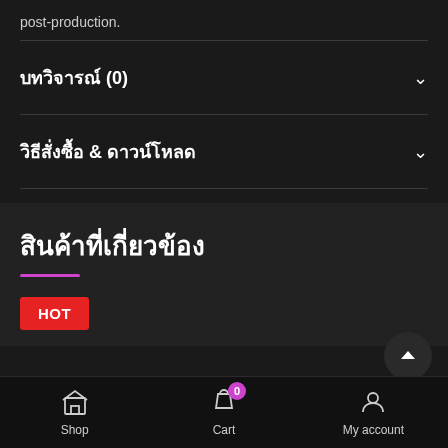post-production.
บทวิจารณ์ (0)
วิธีสั่งซื้อ & ดาวน์โหลด
สินค้าที่เกี่ยวข้อง
HOT
Shop  Cart  My account